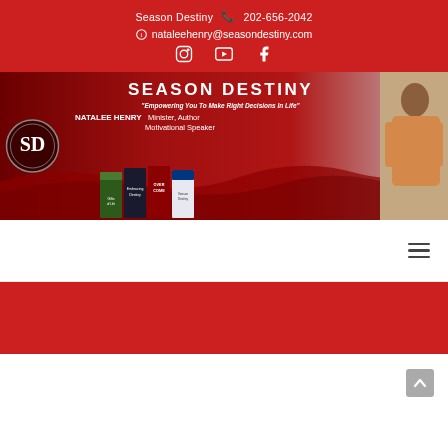Season Destiny  📞 202-656-2042
✉ nataleehenry@seasondestiny.com
[Figure (illustration): Season Destiny banner with SD logo, Natalee Henry books, and photo. Text: SEASON DESTINY, Empowering You To Make Right Decisions In Life, NATALEE HENRY, Minister, Author, Motivational Speaker]
[Figure (infographic): Navigation bar with hamburger menu icon on white background]
[Figure (other): Red section strip]
[Figure (other): White bottom section with up arrow/back-to-top button]